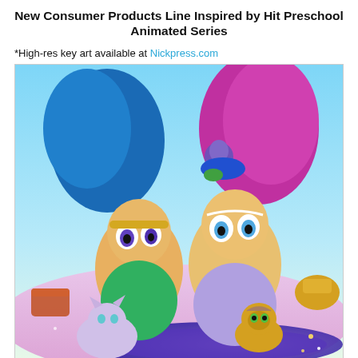New Consumer Products Line Inspired by Hit Preschool Animated Series
*High-res key art available at Nickpress.com
[Figure (illustration): Promotional illustration from the Shimmer and Shine animated series showing two genie characters with large colorful hair (blue and pink), a small purple cat, a yellow monkey, and a small genie riding a vehicle, set against a magical colorful background.]